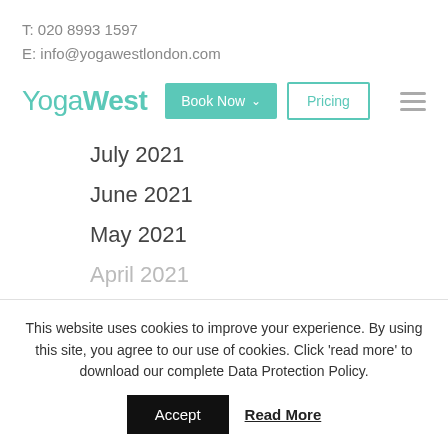T: 020 8993 1597
E: info@yogawestlondon.com
YogaWest | Book Now | Pricing
July 2021
June 2021
May 2021
April 2021
This website uses cookies to improve your experience. By using this site, you agree to our use of cookies. Click 'read more' to download our complete Data Protection Policy.
Accept | Read More